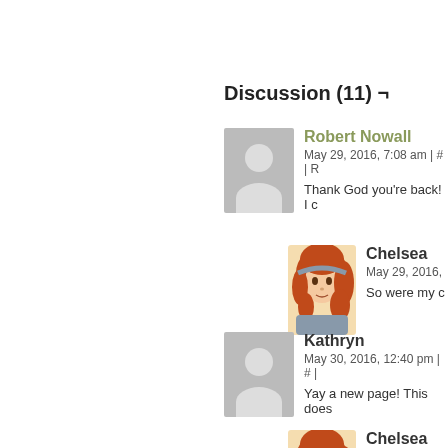Discussion (11) ¬
Robert Nowall
May 29, 2016, 7:08 am | # | R
Thank God you're back! I c
Chelsea
May 29, 2016,
So were my c
Kathryn
May 30, 2016, 12:40 pm | # |
Yay a new page! This does
Chelsea
May 30, 2016,
She needs to